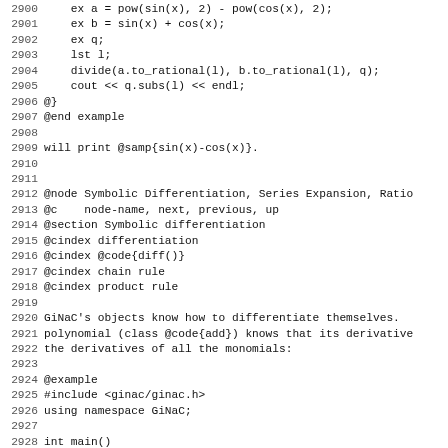Source code listing lines 2900-2931 of a GiNaC symbolic computation documentation/texinfo source file showing code examples and section headers for Symbolic Differentiation.